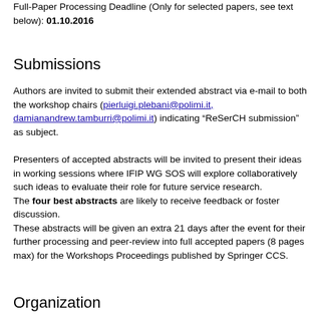Full-Paper Processing Deadline (Only for selected papers, see text below): 01.10.2016
Submissions
Authors are invited to submit their extended abstract via e-mail to both the workshop chairs (pierluigi.plebani@polimi.it, damianandrew.tamburri@polimi.it) indicating “ReSerCH submission” as subject.
Presenters of accepted abstracts will be invited to present their ideas in working sessions where IFIP WG SOS will explore collaboratively such ideas to evaluate their role for future service research.
The four best abstracts are likely to receive feedback or foster discussion.
These abstracts will be given an extra 21 days after the event for their further processing and peer-review into full accepted papers (8 pages max) for the Workshops Proceedings published by Springer CCS.
Organization
The workshop is organised and coordinated by